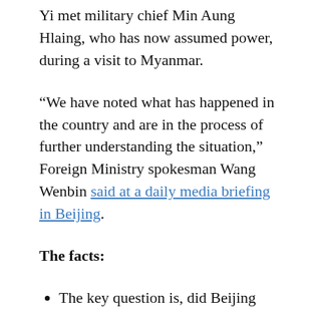Yi met military chief Min Aung Hlaing, who has now assumed power, during a visit to Myanmar.
“We have noted what has happened in the country and are in the process of further understanding the situation,” Foreign Ministry spokesman Wang Wenbin said at a daily media briefing in Beijing.
The facts:
The key question is, did Beijing know this was going to happen?
Last year, the two nations signed 33 bilateral agreements linked to China’s Belt and Road Initiative.
They included rail networks and a deep-sea port project along an economic corridor from China’s